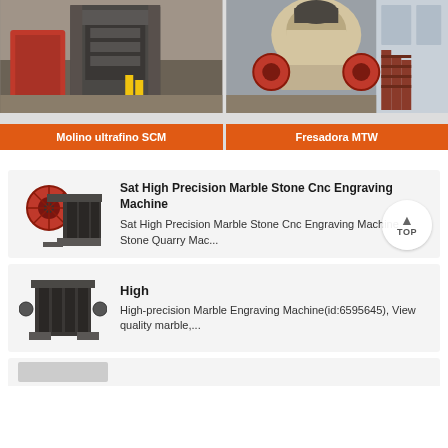[Figure (photo): Industrial SCM ultrafine mill machine in factory setting]
Molino ultrafino SCM
[Figure (photo): MTW milling machine/cone crusher in industrial facility]
Fresadora MTW
[Figure (photo): Jaw crusher machine thumbnail]
Sat High Precision Marble Stone Cnc Engraving Machine
Sat High Precision Marble Stone Cnc Engraving Machine Stone Quarry Mac...
[Figure (photo): Jaw crusher machine thumbnail]
High
High-precision Marble Engraving Machine(id:6595645), View quality marble,...